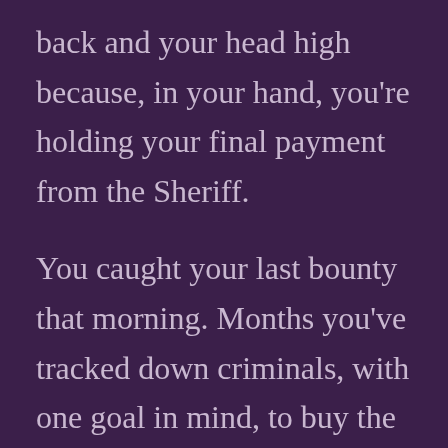back and your head high because, in your hand, you're holding your final payment from the Sheriff.

You caught your last bounty that morning. Months you've tracked down criminals, with one goal in mind, to buy the chunk of land for sale on the far side of town. On it you plan to build your new home and work a small field and produce just enough to trade for